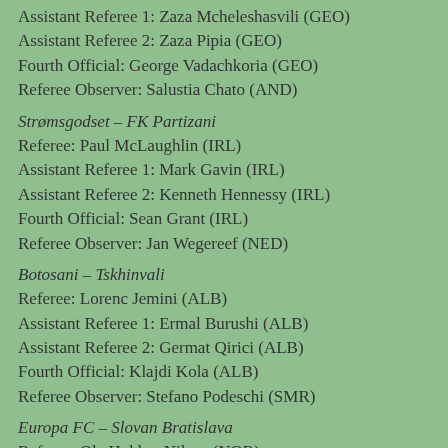Assistant Referee 1: Zaza Mcheleshasvili (GEO)
Assistant Referee 2: Zaza Pipia (GEO)
Fourth Official: George Vadachkoria (GEO)
Referee Observer: Salustia Chato (AND)
Strømsgodset – FK Partizani
Referee: Paul McLaughlin (IRL)
Assistant Referee 1: Mark Gavin (IRL)
Assistant Referee 2: Kenneth Hennessy (IRL)
Fourth Official: Sean Grant (IRL)
Referee Observer: Jan Wegereef (NED)
Botosani – Tskhinvali
Referee: Lorenc Jemini (ALB)
Assistant Referee 1: Ermal Burushi (ALB)
Assistant Referee 2: Germat Qirici (ALB)
Fourth Official: Klajdi Kola (ALB)
Referee Observer: Stefano Podeschi (SMR)
Europa FC – Slovan Bratislava
Referee: Ola Hobber Nilsen (NOR)
Assistant Referee 1: Geir Isaksen (NOR)
Assistant Referee 2: Eivir Harren (NOR)